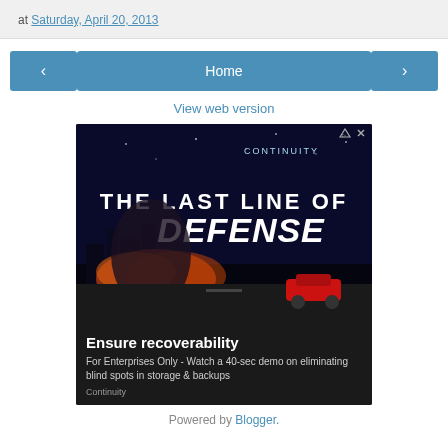at Saturday, April 20, 2013
< Home >
View web version
[Figure (photo): Advertisement banner for Continuity featuring 'The Last Line of Defense' with text: Ensure recoverability. For Enterprises Only - Watch a 40-sec demo on eliminating blind spots in storage & backups. Continuity.]
Powered by Blogger.